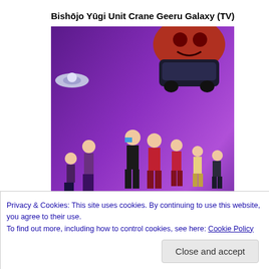Bishōjo Yūgi Unit Crane Geeru Galaxy (TV)
[Figure (illustration): Anime poster/cover art for Bishōjo Yūgi Unit Crane Geeru Galaxy showing multiple anime girl characters on a purple background with spacecraft and the Galaxy logo at the bottom]
10/5/2016
Also known as Bishoujo Yuugi Unit Crane Game Girls, it's the second season. The series follows three girls aspiring to become idols while also working part time at a game center.
Privacy & Cookies: This site uses cookies. By continuing to use this website, you agree to their use.
To find out more, including how to control cookies, see here: Cookie Policy